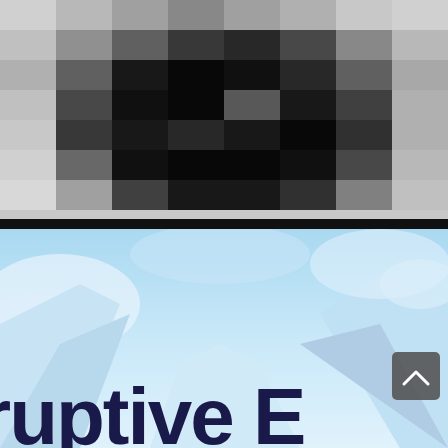[Figure (photo): Pixelated black-and-white close-up portrait photo of a person's face, heavily pixelated/low resolution]
[Figure (illustration): Icy blue winter/arctic background scene with large dark navy bold text reading 'ruptive E...' (partially visible), a small grey scroll/chevron UI button in the lower right area]